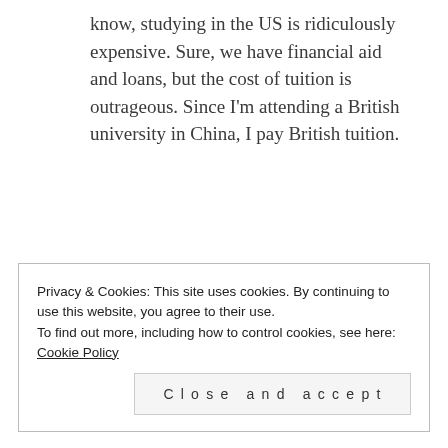know, studying in the US is ridiculously expensive. Sure, we have financial aid and loans, but the cost of tuition is outrageous. Since I'm attending a British university in China, I pay British tuition.
Privacy & Cookies: This site uses cookies. By continuing to use this website, you agree to their use. To find out more, including how to control cookies, see here: Cookie Policy
Close and accept